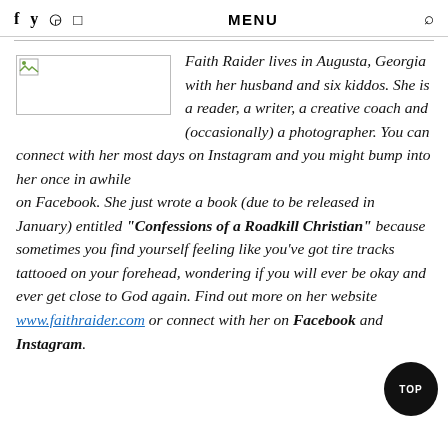f  y   Pinterest  Instagram    MENU    Search
[Figure (photo): Broken image placeholder thumbnail on the left side]
Faith Raider lives in Augusta, Georgia with her husband and six kiddos. She is a reader, a writer, a creative coach and (occasionally) a photographer. You can connect with her most days on Instagram and you might bump into her once in awhile on Facebook. She just wrote a book (due to be released in January) entitled "Confessions of a Roadkill Christian" because sometimes you find yourself feeling like you've got tire tracks tattooed on your forehead, wondering if you will ever be okay and ever get close to God again. Find out more on her website www.faithraider.com or connect with her on Facebook and Instagram.